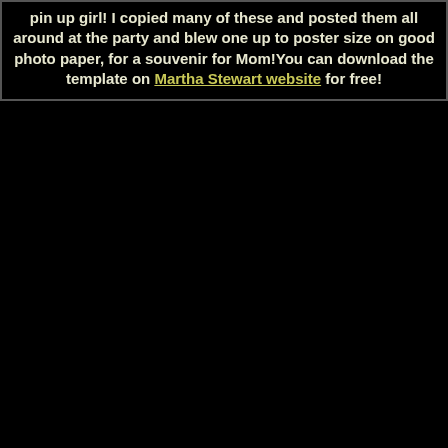pin up girl! I copied many of these and posted them all around at the party and blew one up to poster size on good photo paper, for a souvenir for Mom!You can download the template on Martha Stewart website for free!